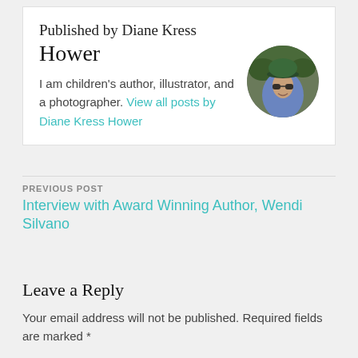Published by Diane Kress Hower
I am children's author, illustrator, and a photographer. View all posts by Diane Kress Hower
[Figure (photo): Circular profile photo of Diane Kress Hower wearing sunglasses and a green cap, outdoors with greenery background]
PREVIOUS POST
Interview with Award Winning Author, Wendi Silvano
Leave a Reply
Your email address will not be published. Required fields are marked *